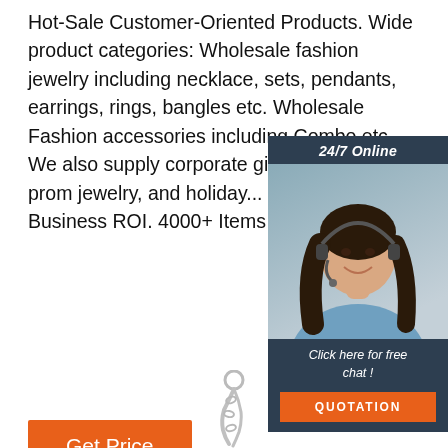Hot-Sale Customer-Oriented Products. Wide product categories: Wholesale fashion jewelry including necklace, sets, pendants, earrings, rings, bangles etc. Wholesale Fashion accessories including Combo etc. We also supply corporate gifts, wedding & prom jewelry, and holiday... Boost Your Business ROI. 4000+ Items Updates Monthly
[Figure (infographic): Customer service chat widget with '24/7 Online' header, photo of a woman wearing a headset, 'Click here for free chat!' text, and an orange QUOTATION button, on a dark navy background.]
[Figure (illustration): Orange 'Get Price' button]
[Figure (logo): Orange 'TOP' logo with dotted triangle above the text]
[Figure (photo): Partial image of a jewelry chain/necklace at the bottom center of the page]